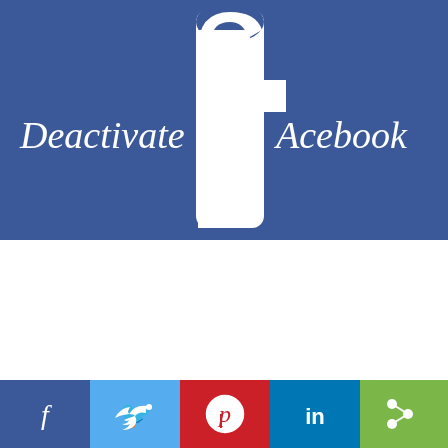[Figure (illustration): Facebook logo styled image with text 'Deactivate fAcebook' on a blue background. The Facebook 'f' logo sits in the middle, with 'Deactivate' written in white italic/cursive on the left and 'Acebook' on the right, forming 'Deactivate fAcebook'.]
[Figure (infographic): Social sharing bar at the bottom with five colored buttons: Facebook (dark blue with 'f'), Twitter (light blue with bird icon), Pinterest (red with 'p' circle), LinkedIn (medium blue with 'in'), and Share (green with share icon).]